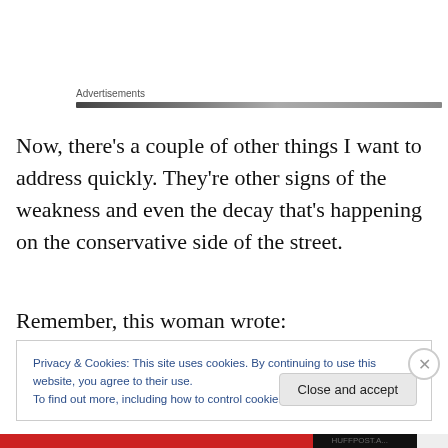Advertisements
Now, there’s a couple of other things I want to address quickly. They’re other signs of the weakness and even the decay that's happening on the conservative side of the street.
Remember, this woman wrote:
Privacy & Cookies: This site uses cookies. By continuing to use this website, you agree to their use.
To find out more, including how to control cookies, see here: Cookie Policy
Close and accept